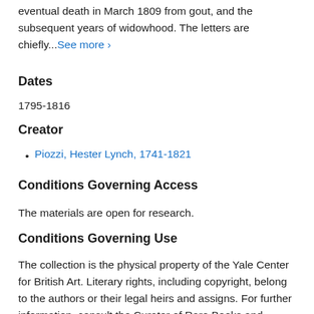eventual death in March 1809 from gout, and the subsequent years of widowhood. The letters are chiefly...See more ›
Dates
1795-1816
Creator
Piozzi, Hester Lynch, 1741-1821
Conditions Governing Access
The materials are open for research.
Conditions Governing Use
The collection is the physical property of the Yale Center for British Art. Literary rights, including copyright, belong to the authors or their legal heirs and assigns. For further information, consult the Curator of Rare Books and Manuscripts.
Immediate Source of Acquisition